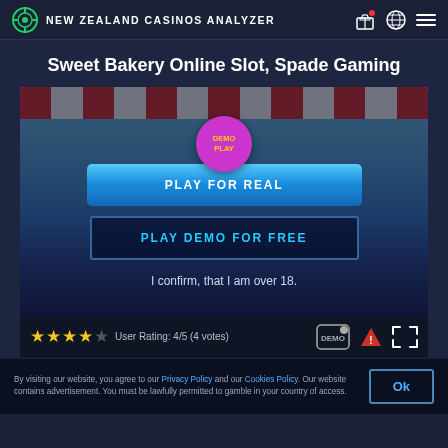NEW ZEALAND CASINOS ANALYZER
Sweet Bakery Online Slot, Spade Gaming
[Figure (screenshot): Sweet Bakery Online Slot game interface showing a bakery-themed slot game with a pink/magenta demo play circle button at top, a blue 'PLAY FOR REAL' button, an outlined 'PLAY DEMO FOR FREE' button, and text 'I confirm, that I am over 18.' at the bottom. Background shows a colorful bakery scene with red and white striped awning.]
User Rating: 4/5 (4 votes)
By visiting our website, you agree to our Privacy Policy and our Cookies Policy. Our website contains advertisement. You must be lawfully permitted to gamble in your country of access.